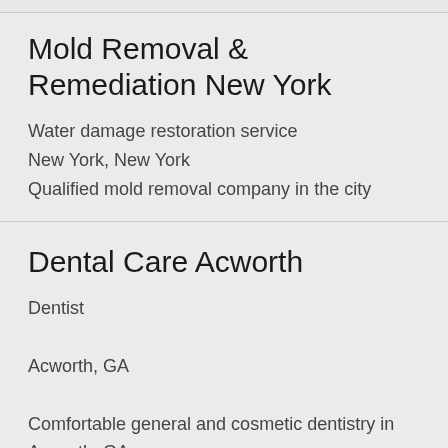Mold Removal & Remediation New York
Water damage restoration service
New York, New York
Qualified mold removal company in the city
Dental Care Acworth
Dentist
Acworth, GA
Comfortable general and cosmetic dentistry in Acworth, GA.